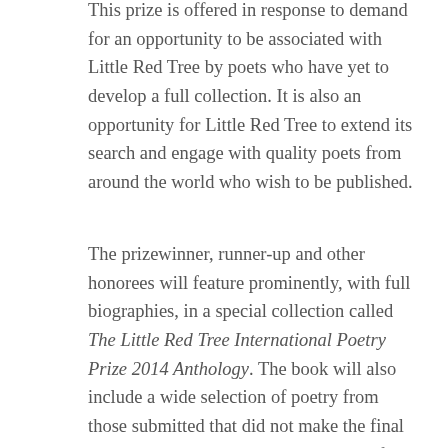This prize is offered in response to demand for an opportunity to be associated with Little Red Tree by poets who have yet to develop a full collection. It is also an opportunity for Little Red Tree to extend its search and engage with quality poets from around the world who wish to be published.
The prizewinner, runner-up and other honorees will feature prominently, with full biographies, in a special collection called The Little Red Tree International Poetry Prize 2014 Anthology. The book will also include a wide selection of poetry from those submitted that did not make the final selection but were considered worthy of publication. The anthology will be published in the summer of 2014 with a book launch in New London